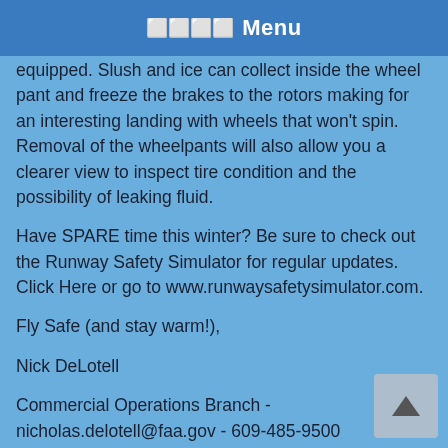Menu
equipped. Slush and ice can collect inside the wheel pant and freeze the brakes to the rotors making for an interesting landing with wheels that won't spin. Removal of the wheelpants will also allow you a clearer view to inspect tire condition and the possibility of leaking fluid.
Have SPARE time this winter? Be sure to check out the Runway Safety Simulator for regular updates. Click Here or go to www.runwaysafetysimulator.com.
Fly Safe (and stay warm!),
Nick DeLotell
Commercial Operations Branch - nicholas.delotell@faa.gov - 609-485-9500